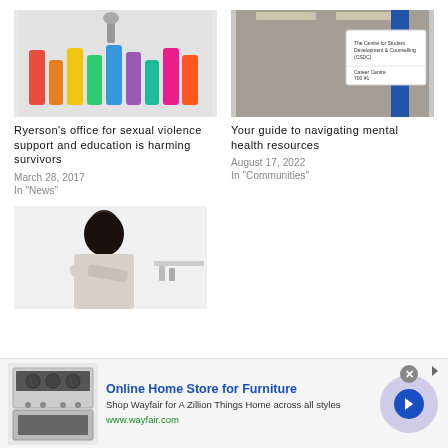[Figure (photo): Colorful hands raised upward in rainbow colors, with a wrench or tool above them, on a light gray background]
Ryerson's office for sexual violence support and education is harming survivors
March 28, 2017
In "News"
[Figure (photo): Indoor sign reading 'The Centre for Student Development & Counselling (CSDC)' and 'Career Centre' with a blue stripe and upward arrow, brick wall background]
Your guide to navigating mental health resources
August 17, 2022
In "Communities"
[Figure (photo): A woman with long dark hair standing with arms crossed, wearing a light floral jacket, against a white background]
[Figure (photo): Kitchen appliances including stove and oven]
Online Home Store for Furniture
Shop Wayfair for A Zillion Things Home across all styles
www.wayfair.com